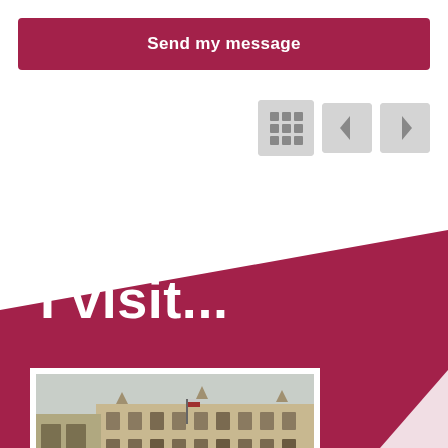Send my message
[Figure (screenshot): Grid view icon (3x3 squares) and navigation arrow buttons (left < and right >) on grey background]
I visit...
[Figure (photo): Photograph of a group of tourists standing in front of a large ornate European building (appears to be a French city hall or historic building), street scene with overcast sky]